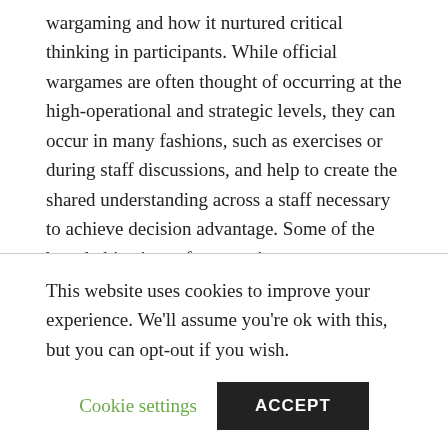wargaming and how it nurtured critical thinking in participants. While official wargames are often thought of occurring at the high-operational and strategic levels, they can occur in many fashions, such as exercises or during staff discussions, and help to create the shared understanding across a staff necessary to achieve decision advantage. Some of the broad objectives of wargaming are to test concepts and plans, experience the consequences of decisions and to analyze the decision behavior of leaders, but it also tests the signals that are produced by actions and how inputs, such as information, impact decisions. Greater participation in wargaming will allow naval intelligence officers to refine assessments of adversary reactions, potentially augmented with AI, and experiment with
This website uses cookies to improve your experience. We'll assume you're ok with this, but you can opt-out if you wish.
Cookie settings   ACCEPT